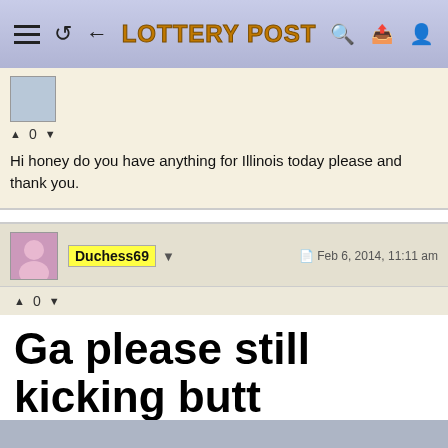Lottery Post
Hi honey do you have anything for Illinois today please and thank you.
Duchess69 — Feb 6, 2014, 11:11 am
Ga please still kicking butt